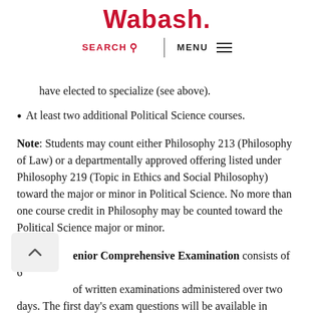Wabash.
SEARCH  MENU
have elected to specialize (see above).
At least two additional Political Science courses.
Note: Students may count either Philosophy 213 (Philosophy of Law) or a departmentally approved offering listed under Philosophy 219 (Topic in Ethics and Social Philosophy) toward the major or minor in Political Science. No more than one course credit in Philosophy may be counted toward the Political Science major or minor.
The Senior Comprehensive Examination consists of 6 hours of written examinations administered over two days. The first day's exam questions will be available in